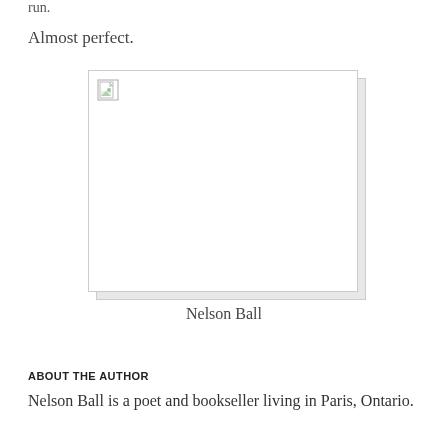run.
Almost perfect.
[Figure (photo): Broken/missing image placeholder box with offset shadow, showing a broken image icon in the top-left corner]
Nelson Ball
ABOUT THE AUTHOR
Nelson Ball is a poet and bookseller living in Paris, Ontario.